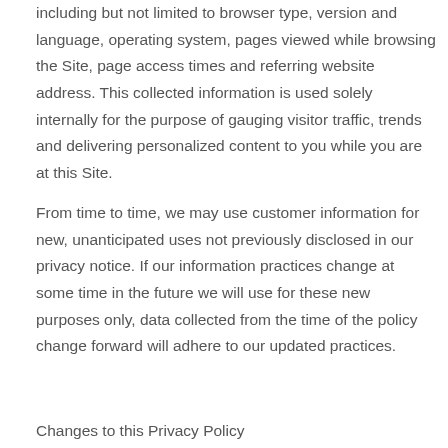including but not limited to browser type, version and language, operating system, pages viewed while browsing the Site, page access times and referring website address. This collected information is used solely internally for the purpose of gauging visitor traffic, trends and delivering personalized content to you while you are at this Site.
From time to time, we may use customer information for new, unanticipated uses not previously disclosed in our privacy notice. If our information practices change at some time in the future we will use for these new purposes only, data collected from the time of the policy change forward will adhere to our updated practices.
Changes to this Privacy Policy